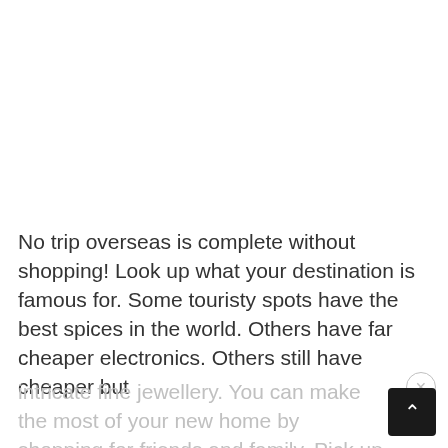No trip overseas is complete without shopping! Look up what your destination is famous for. Some touristy spots have the best spices in the world. Others have far cheaper electronics. Others still have cheaper but intricate fine jewellery. You can make the most of your new home by shopping for friends and family. Pick up items they love and send them home as gifts.